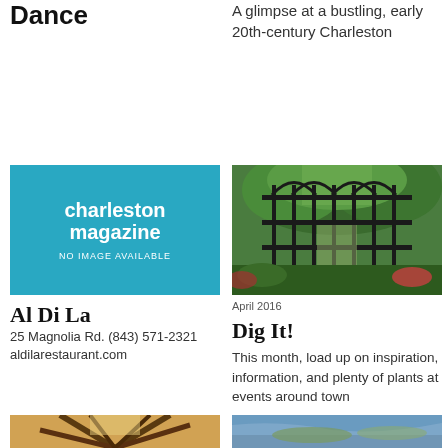Dance
A glimpse at a bustling, early 20th-century Charleston
[Figure (logo): Charleston Magazine logo on teal/cyan background with text 'NO IMAGE AVAILABLE']
[Figure (photo): A garden photo showing ornate black iron gate with lush green trees and plants beyond, April 2016]
Al Di La
25 Magnolia Rd. (843) 571-2321 aldilarestaurant.com
April 2016
Dig It!
This month, load up on inspiration, information, and plenty of plants at events around town
[Figure (photo): Photo of palm tree fronds against a bright sky]
[Figure (photo): Aerial photo of a coastal town with waterways and marshland]